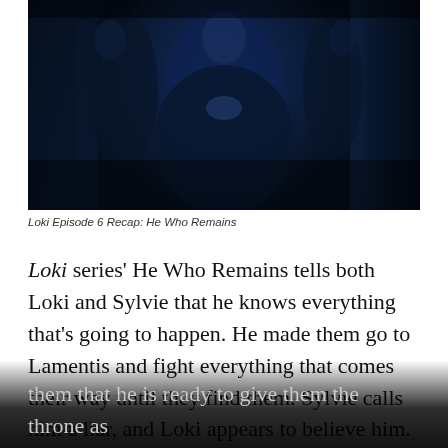[Figure (photo): Dark scene from Loki TV series showing robed figures in a dimly lit ornate room]
Loki Episode 6 Recap: He Who Remains
Loki series' He Who Remains tells both Loki and Sylvie that he knows everything that's going to happen. He made them go to Lamentis and fight everything that comes their way until they find them. Sylvie calls him a liar, and Loki appears to believe him. He Who Remains asks Sylvie if she really trusts Loki (Tom Hiddleston). When the timeline hits the threshold, the TVA founder tells them that he is ready to give them the throne as